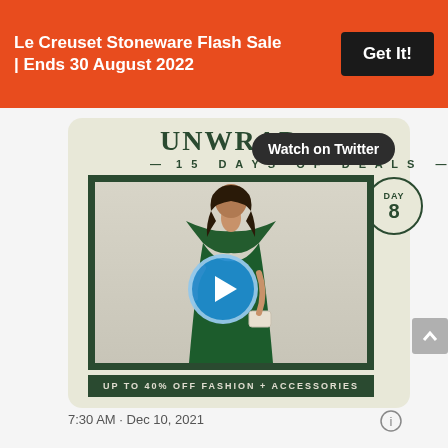Le Creuset Stoneware Flash Sale | Ends 30 August 2022
[Figure (screenshot): Twitter/social media post showing 'UNWRAP – 15 DAYS OF DEALS –' promotional card with a woman in a green dress, a play button overlay, DAY 8 badge, 'Watch on Twitter' pill button, and bottom text 'UP TO 40% OFF FASHION + ACCESSORIES']
7:30 AM · Dec 10, 2021